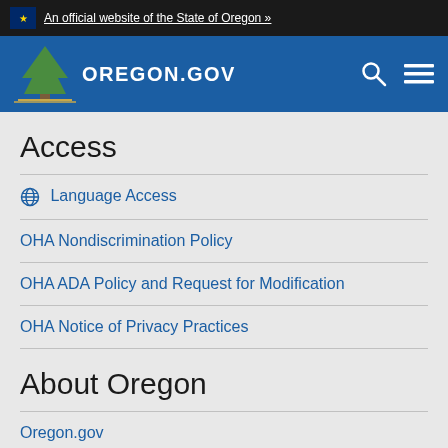An official website of the State of Oregon »
[Figure (logo): Oregon.gov logo with tree graphic on blue header bar with search and menu icons]
Access
Language Access
OHA Nondiscrimination Policy
OHA ADA Policy and Request for Modification
OHA Notice of Privacy Practices
About Oregon
Oregon.gov
State Employee Search
Accessibility